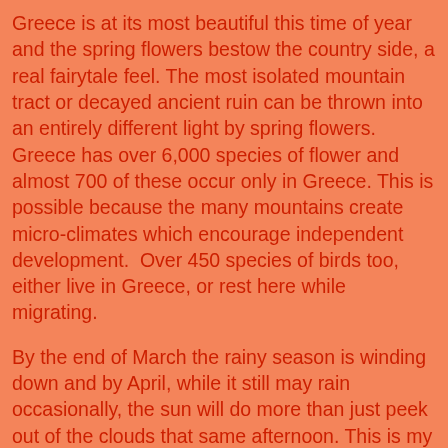Greece is at its most beautiful this time of year and the spring flowers bestow the country side, a real fairytale feel. The most isolated mountain tract or decayed ancient ruin can be thrown into an entirely different light by spring flowers. Greece has over 6,000 species of flower and almost 700 of these occur only in Greece. This is possible because the many mountains create micro-climates which encourage independent development.  Over 450 species of birds too, either live in Greece, or rest here while migrating.
By the end of March the rainy season is winding down and by April, while it still may rain occasionally, the sun will do more than just peek out of the clouds that same afternoon. This is my favorite time of year in Greece because I know it will only get better and warmer. For those with the time to travel, such as students, this is the best time to get to know Greece. If you happen upon a spot you really like you can always stay longer too!
Ferry schedules will be increasing in frequency so you can get to out of the way places with more facility and take exploratory day and weekend trips. Most everything else will be opening as mid-season turns to May and June. If local businesses are looking for help this is the time to make